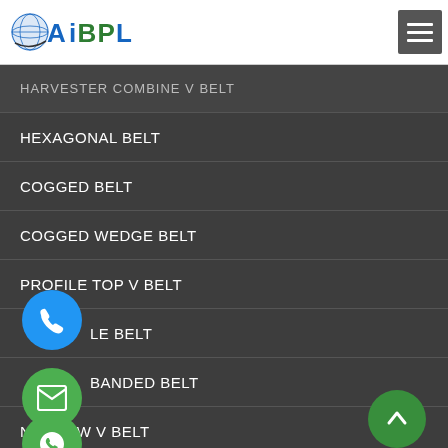[Figure (logo): AIBPL company logo with globe graphic and stylized text]
HARVESTER COMBINE V BELT
HEXAGONAL BELT
COGGED BELT
COGGED WEDGE BELT
PROFILE TOP V BELT
DOUBLE BELT
BANDED BELT
NARROW V BELT
GUIDE BELT
MUD LOADER BELT